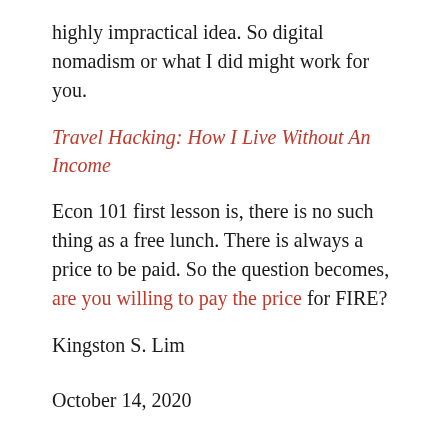highly impractical idea. So digital nomadism or what I did might work for you.
Travel Hacking: How I Live Without An Income
Econ 101 first lesson is, there is no such thing as a free lunch. There is always a price to be paid. So the question becomes, are you willing to pay the price for FIRE?
Kingston S. Lim
October 14, 2020
Dar Es Salaam, Tanzania